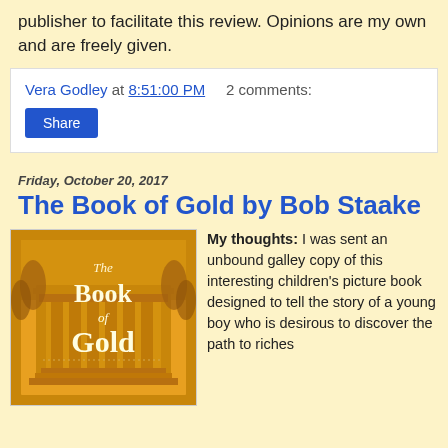publisher to facilitate this review. Opinions are my own and are freely given.
Vera Godley at 8:51:00 PM  2 comments:
Share
Friday, October 20, 2017
The Book of Gold by Bob Staake
[Figure (illustration): Book cover of 'The Book of Gold' by Bob Staake showing golden architecture with the title text in serif font on a warm amber/golden background]
My thoughts:  I was sent an unbound galley copy  of this interesting children's picture book designed to tell the story of a young boy who is desirous to discover the path to riches